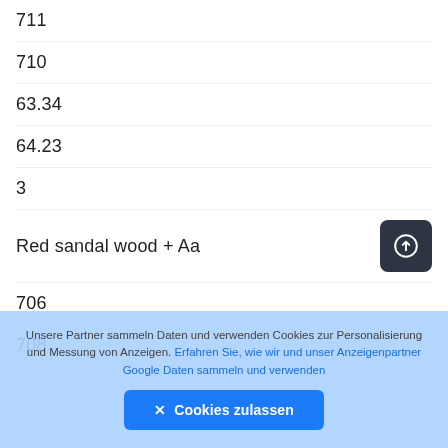711
710
63.34
64.23
3
Red sandal wood + Aa
706
708
Unsere Partner sammeln Daten und verwenden Cookies zur Personalisierung und Messung von Anzeigen. Erfahren Sie, wie wir und unser Anzeigenpartner Google Daten sammeln und verwenden
✕ Cookies zulassen